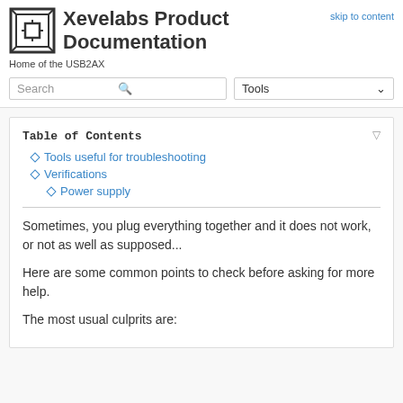skip to content
Xevelabs Product Documentation
Home of the USB2AX
Table of Contents
Tools useful for troubleshooting
Verifications
Power supply
Sometimes, you plug everything together and it does not work, or not as well as supposed...
Here are some common points to check before asking for more help.
The most usual culprits are: